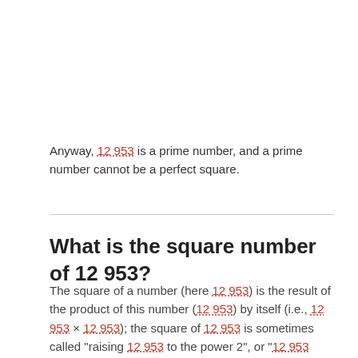Anyway, 12 953 is a prime number, and a prime number cannot be a perfect square.
What is the square number of 12 953?
The square of a number (here 12 953) is the result of the product of this number (12 953) by itself (i.e., 12 953 × 12 953); the square of 12 953 is sometimes called "raising 12 953 to the power 2", or "12 953 squared".